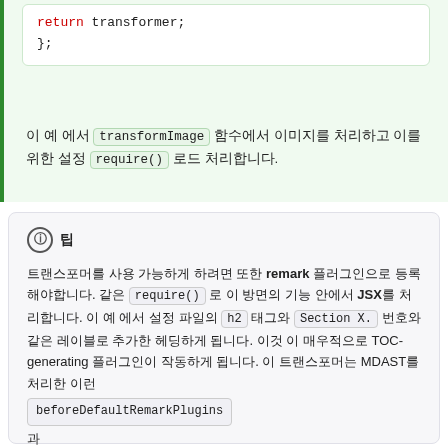return transformer;
};
이 예 에서 transformImage 함수에서 이미지를 처리하고 이를 위한 설정 require() 로드 처리합니다.
ℹ 팁
트랜스포머를 사용 가능하게 하려면 또한 remark 플러그인으로 등록 해야합니다. 같은 require() 로 이 방면의 기능 안에서 JSX를 처리합니다. 이 예 에서 설정 파일의 h2 태그와 Section X. 번호와 같은 레이블로 추가한 헤딩하게 됩니다. 이것 이 매우적으로 TOC-generating 플러그인이 작동하게 됩니다. 이 트랜스포머는 MDAST를 처리한 이런
beforeDefaultRemarkPlugins 과
beforeDefaultRehypePlugins 로 노출됩니다.